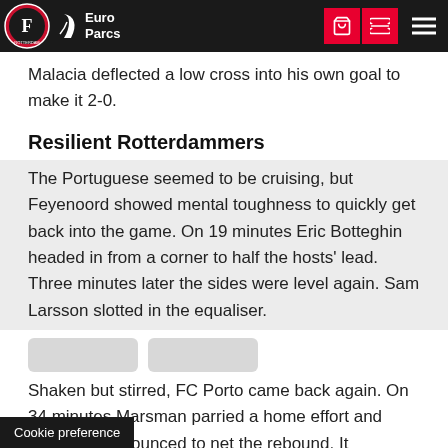Feyenoord / Euro Parcs navigation bar
…ting an arm on the ball. 7 minutes later, Tyron Malacia deflected a low cross into his own goal to make it 2-0.
Resilient Rotterdammers
The Portuguese seemed to be cruising, but Feyenoord showed mental toughness to quickly get back into the game. On 19 minutes Eric Botteghin headed in from a corner to half the hosts' lead. Three minutes later the sides were level again. Sam Larsson slotted in the equaliser.
Shaken but stirred, FC Porto came back again. On 34 minutes Marsman parried a home effort and …s pounced to net the rebound. It
Cookie preference